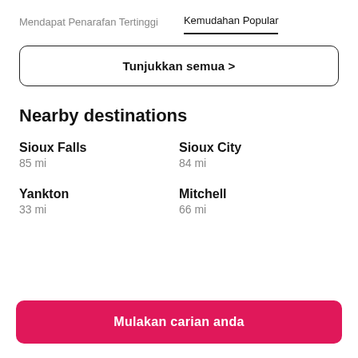Mendapat Penarafan Tertinggi | Kemudahan Popular
Tunjukkan semua >
Nearby destinations
Sioux Falls
85 mi
Sioux City
84 mi
Yankton
33 mi
Mitchell
66 mi
Mulakan carian anda